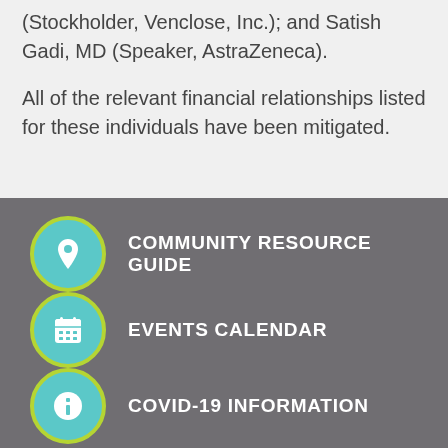(Stockholder, Venclose, Inc.); and Satish Gadi, MD (Speaker, AstraZeneca).
All of the relevant financial relationships listed for these individuals have been mitigated.
COMMUNITY RESOURCE GUIDE
EVENTS CALENDAR
COVID-19 INFORMATION